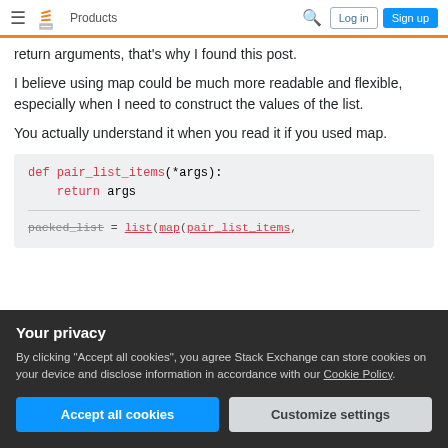Stack Overflow navigation — Products | Log in | Sign up
return arguments, that's why I found this post.
I believe using map could be much more readable and flexible, especially when I need to construct the values of the list.
You actually understand it when you read it if you used map.
[Figure (screenshot): Code block showing Python function: def pair_list_items(*args): return args, and a partial line: packed_list = list(map(pair_list_items,]
Your privacy
By clicking "Accept all cookies", you agree Stack Exchange can store cookies on your device and disclose information in accordance with our Cookie Policy.
Accept all cookies   Customize settings
Share  Follow                    answered Mar 22 at 7:42